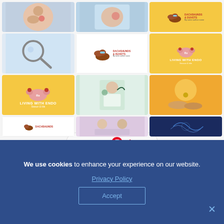[Figure (screenshot): Pinterest board grid showing medical/endometriosis related pins including images of abdominal pain, uterus illustrations, doctor consultations, Dachshunds & Duvets book covers, and medical imagery arranged in a 3-column grid layout]
Follow On Pinterest
We use cookies to enhance your experience on our website. Privacy Policy Accept